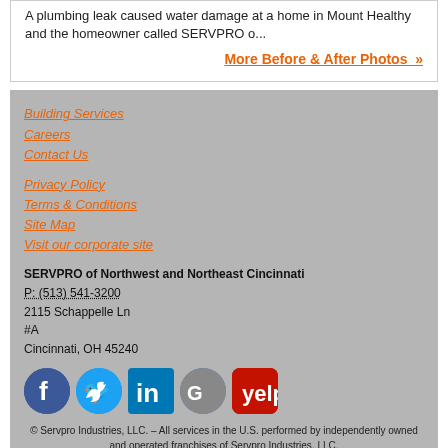A plumbing leak caused water damage at a home in Mount Healthy and the homeowner called SERVPRO o...
More Before & After Photos »
Building Services
Careers
Contact Us
Privacy Policy
Terms & Conditions
Site Map
Visit our corporate site
SERVPRO of Northwest and Northeast Cincinnati
P: (513) 541-3200
2115 Schappelle Ln
#A
Cincinnati, OH 45240
[Figure (other): Social media icons: Facebook, Twitter, LinkedIn, Google, Yelp]
© Servpro Industries, LLC. – All services in the U.S. performed by independently owned and operated franchises of Servpro Industries, LLC.
© Servpro Industries (Canada) ULC – All services in Canada performed by independently owned and operated franchises of Servpro Industries (Canada) ULC.